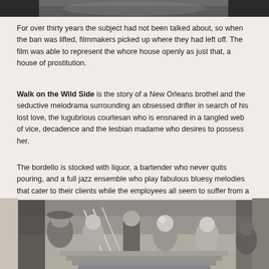[Figure (photo): Top edge of a black-and-white photograph, partially cropped, showing a figure.]
For over thirty years the subject had not been talked about, so when the ban was lifted, filmmakers picked up where they had left off. The film was able to represent the whore house openly as just that, a house of prostitution.
Walk on the Wild Side is the story of a New Orleans brothel and the seductive melodrama surrounding an obsessed drifter in search of his lost love, the lugubrious courtesan who is ensnared in a tangled web of vice, decadence and the lesbian madame who desires to possess her.
The bordello is stocked with liquor, a bartender who never quits pouring, and a full jazz ensemble who play fabulous bluesy melodies that cater to their clients while the employees all seem to suffer from a collective languorous state of mind.
[Figure (photo): Black-and-white film still showing a group of people on what appears to be outdoor steps, with women in period clothing and a man in the center.]